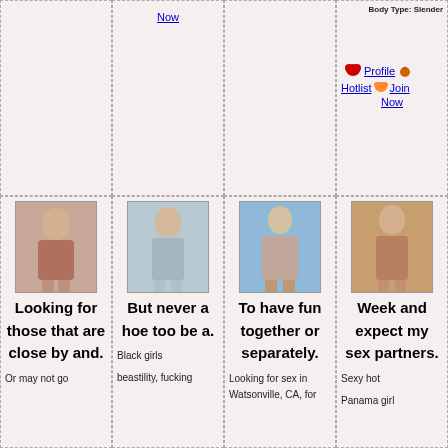Now
Body Type: Slender
Profile
Hotlist  Join Now
[Figure (photo): Photo of a young woman in a bikini top]
Looking for those that are close by and.
[Figure (photo): Photo of a young woman in a sheer top]
But never a hoe too be a.
Black girls beastility, fucking
Or may not go
[Figure (photo): Photo of a woman standing on a beach]
To have fun together or separately.
Looking for sex in Watsonville, CA, for
[Figure (photo): Photo of a woman posing]
Week and expect my sex partners.
Sexy hot
Panama girl